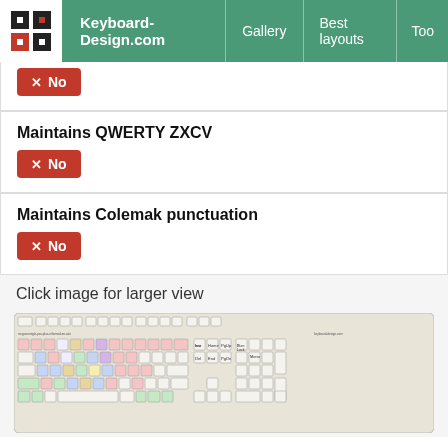Keyboard-Design.com | Gallery | Best layouts | Too
✕ No
Maintains QWERTY ZXCV
✕ No
Maintains Colemak punctuation
✕ No
Click image for larger view
[Figure (screenshot): Colored keyboard layout diagram showing a full keyboard with color-coded keys representing a keyboard layout (mcguranniglo-pos-plus-nihomod-en-aini). Keys are colored in shades of pink, blue, yellow, green, and white. Includes numpad on the right side. Labeled 'keyboard-design.com' in lower right.]